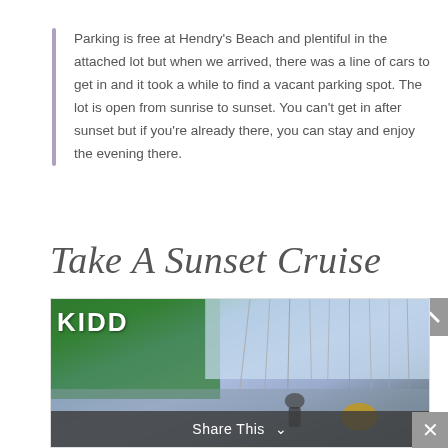Parking is free at Hendry's Beach and plentiful in the attached lot but when we arrived, there was a line of cars to get in and it took a while to find a vacant parking spot. The lot is open from sunrise to sunset. You can't get in after sunset but if you're already there, you can stay and enjoy the evening there.
Take A Sunset Cruise
[Figure (photo): Photo of a marina with sailboats and masts visible. A green sail or awning with the text 'KIDD' is visible in the foreground. A person stands on a dock in the background.]